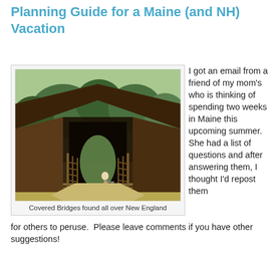Planning Guide for a Maine (and NH) Vacation
[Figure (photo): A wooden covered bridge photographed from the entrance, looking through the tunnel to trees and greenery on the other side. A person is visible on the bridge deck. Set in a rural New England landscape.]
Covered Bridges found all over New England
I got an email from a friend of my mom's who is thinking of spending two weeks in Maine this upcoming summer.  She had a list of questions and after answering them, I thought I'd repost them for others to peruse.  Please leave comments if you have other suggestions!